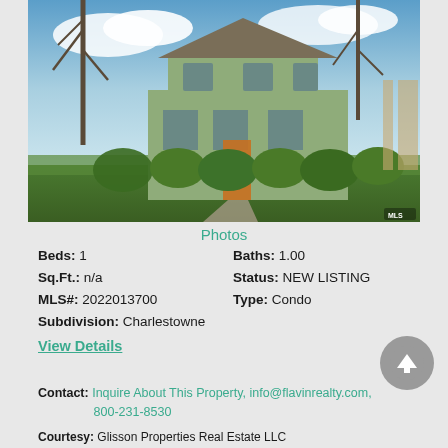[Figure (photo): Exterior photo of a two-story green/sage colored house with bare trees and manicured shrubs in front. Blue sky with clouds visible. MLS watermark in lower right.]
Photos
Beds: 1
Baths: 1.00
Sq.Ft.: n/a
Status: NEW LISTING
MLS#: 2022013700
Type: Condo
Subdivision: Charlestowne
View Details
Contact: Inquire About This Property, info@flavinrealty.com, 800-231-8530
Courtesy: Glisson Properties Real Estate LLC